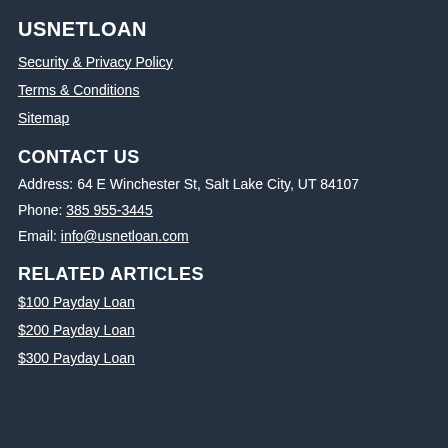USNETLOAN
Security & Privacy Policy
Terms & Conditions
Sitemap
CONTACT US
Address: 64 E Winchester St, Salt Lake City, UT 84107
Phone: 385 955-3445
Email: info@usnetloan.com
RELATED ARTICLES
$100 Payday Loan
$200 Payday Loan
$300 Payday Loan